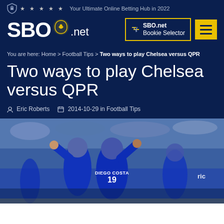Your Ultimate Online Betting Hub in 2022
[Figure (logo): SBO.net logo with shield icon and stars]
You are here: Home > Football Tips > Two ways to play Chelsea versus QPR
Two ways to play Chelsea versus QPR
Eric Roberts  2014-10-29 in Football Tips
[Figure (photo): Chelsea players in blue jerseys celebrating, Diego Costa number 19 jersey visible, crowds in background]